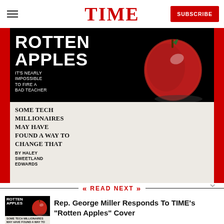TIME | SUBSCRIBE
[Figure (photo): TIME magazine cover showing 'ROTTEN APPLES — It's nearly impossible to fire a bad teacher. Some tech millionaires may have found a way to change that. By Haley Sweetland Edwards' with a red apple on black background.]
READ NEXT
[Figure (photo): Thumbnail image of TIME Rotten Apples magazine cover]
Rep. George Miller Responds To TIME's "Rotten Apples" Cover